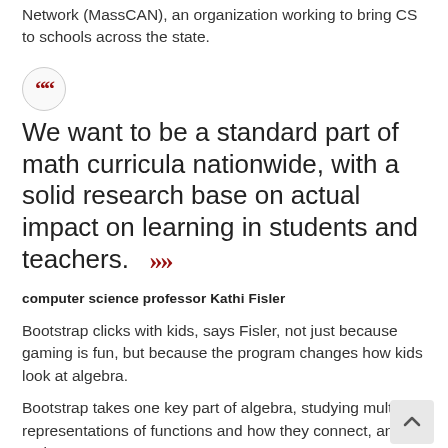Network (MassCAN), an organization working to bring CS to schools across the state.
“We want to be a standard part of math curricula nationwide, with a solid research base on actual impact on learning in students and teachers.”
computer science professor Kathi Fisler
Bootstrap clicks with kids, says Fisler, not just because gaming is fun, but because the program changes how kids look at algebra.
Bootstrap takes one key part of algebra, studying multiple representations of functions and how they connect, and embraces